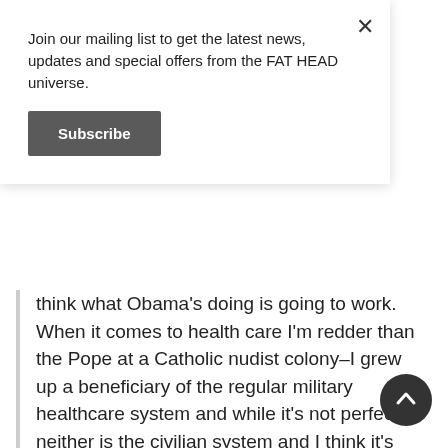Join our mailing list to get the latest news, updates and special offers from the FAT HEAD universe.
Subscribe
think what Obama's doing is going to work. When it comes to health care I'm redder than the Pope at a Catholic nudist colony–I grew up a beneficiary of the regular military healthcare system and while it's not perfect, neither is the civilian system and I think it's criminal to make people go without basic care just because they have chintzy employers, or none at all. I want single-payer. Badly. Like, *yesterday.*
But.
You should know (from me especially) all the